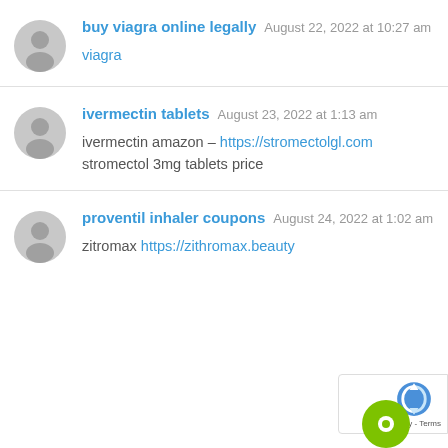buy viagra online legally  August 22, 2022 at 10:27 am

viagra
ivermectin tablets  August 23, 2022 at 1:13 am

ivermectin amazon – https://stromectolgl.com stromectol 3mg tablets price
proventil inhaler coupons  August 24, 2022 at 1:02 am

zitromax https://zithromax.beauty